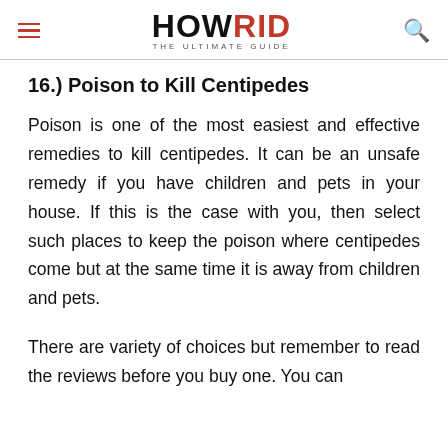HOWRID THE ULTIMATE GUIDE
16.) Poison to Kill Centipedes
Poison is one of the most easiest and effective remedies to kill centipedes. It can be an unsafe remedy if you have children and pets in your house. If this is the case with you, then select such places to keep the poison where centipedes come but at the same time it is away from children and pets.
There are variety of choices but remember to read the reviews before you buy one. You can